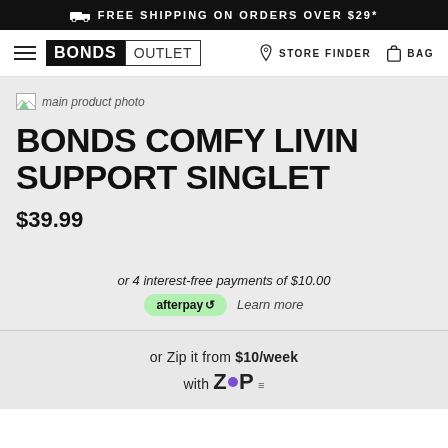FREE SHIPPING ON ORDERS OVER $29*
[Figure (logo): Bonds Outlet logo with hamburger menu]
[Figure (other): Main product photo placeholder (broken image)]
BONDS COMFY LIVIN SUPPORT SINGLET
$39.99
or 4 interest-free payments of $10.00
afterpay   Learn more
or Zip it from $10/week
with ZIP